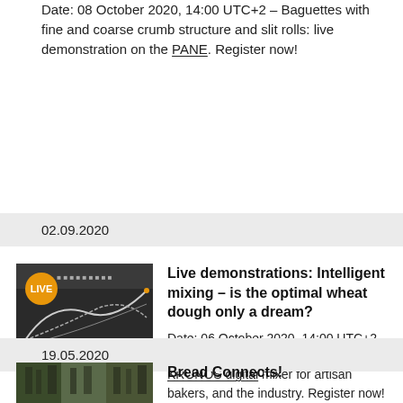Date: 08 October 2020, 14:00 UTC+2 – Baguettes with fine and coarse crumb structure and slit rolls: live demonstration on the PANE. Register now!
02.09.2020
[Figure (screenshot): Screenshot of a digital mixing interface with a LIVE badge in orange]
Live demonstrations: Intelligent mixing – is the optimal wheat dough only a dream?
Date: 06 October 2020, 14:00 UTC+2 – The advantages of the intelligent KRONOS digital mixer for artisan bakers, and the industry. Register now!
19.05.2020
[Figure (photo): Thumbnail photo of bread/bakery scene]
Bread Connects!